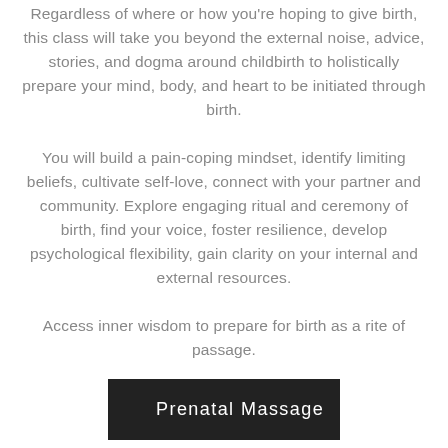Regardless of where or how you're hoping to give birth, this class will take you beyond the external noise, advice, stories, and dogma around childbirth to holistically prepare your mind, body, and heart to be initiated through birth. You will build a pain-coping mindset, identify limiting beliefs, cultivate self-love, connect with your partner and community. Explore engaging ritual and ceremony of birth, find your voice, foster resilience, develop psychological flexibility, gain clarity on your internal and external resources. Access inner wisdom to prepare for birth as a rite of passage.
Prenatal Massage